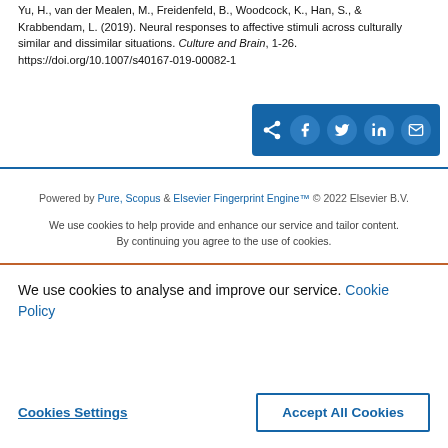Yu, H., van der Mealen, M., Freidenfeld, B., Woodcock, K., Han, S., & Krabbendam, L. (2019). Neural responses to affective stimuli across culturally similar and dissimilar situations. Culture and Brain, 1-26. https://doi.org/10.1007/s40167-019-00082-1
Powered by Pure, Scopus & Elsevier Fingerprint Engine™ © 2022 Elsevier B.V.
We use cookies to help provide and enhance our service and tailor content. By continuing you agree to the use of cookies.
We use cookies to analyse and improve our service. Cookie Policy
Cookies Settings
Accept All Cookies